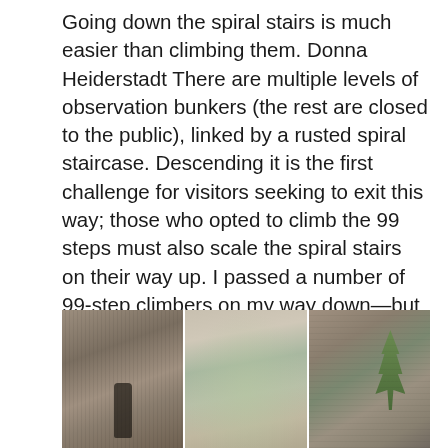Going down the spiral stairs is much easier than climbing them. Donna Heiderstadt There are multiple levels of observation bunkers (the rest are closed to the public), linked by a rusted spiral staircase. Descending it is the first challenge for visitors seeking to exit this way; those who opted to climb the 99 steps must also scale the spiral stairs on their way up. I passed a number of 99-step climbers on my way down—but descending was a heck of a lot easier. The Loop Trail on the way up was definitely the way to go.
[Figure (photo): A photograph appearing to be split into three panels showing what looks like rocky or concrete surfaces with vegetation, possibly an outdoor nature or historical site scene.]